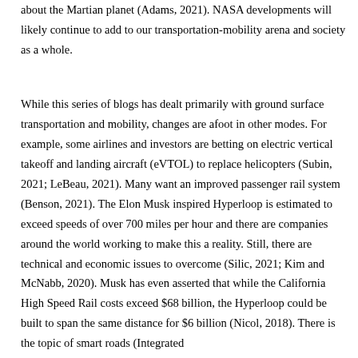about the Martian planet (Adams, 2021). NASA developments will likely continue to add to our transportation-mobility arena and society as a whole.
While this series of blogs has dealt primarily with ground surface transportation and mobility, changes are afoot in other modes. For example, some airlines and investors are betting on electric vertical takeoff and landing aircraft (eVTOL) to replace helicopters (Subin, 2021; LeBeau, 2021). Many want an improved passenger rail system (Benson, 2021). The Elon Musk inspired Hyperloop is estimated to exceed speeds of over 700 miles per hour and there are companies around the world working to make this a reality. Still, there are technical and economic issues to overcome (Silic, 2021; Kim and McNabb, 2020). Musk has even asserted that while the California High Speed Rail costs exceed $68 billion, the Hyperloop could be built to span the same distance for $6 billion (Nicol, 2018). There is the topic of smart roads (Integrated